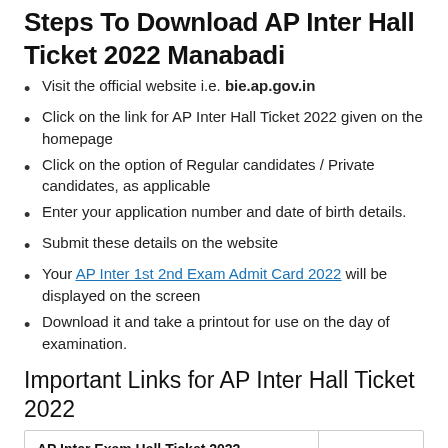Steps To Download AP Inter Hall Ticket 2022 Manabadi
Visit the official website i.e. bie.ap.gov.in
Click on the link for AP Inter Hall Ticket 2022 given on the homepage
Click on the option of Regular candidates / Private candidates, as applicable
Enter your application number and date of birth details.
Submit these details on the website
Your AP Inter 1st 2nd Exam Admit Card 2022 will be displayed on the screen
Download it and take a printout for use on the day of examination.
Important Links for AP Inter Hall Ticket 2022
| AP Inter Exam Hall Ticket 2022 Manabadi | Click |
| --- | --- |